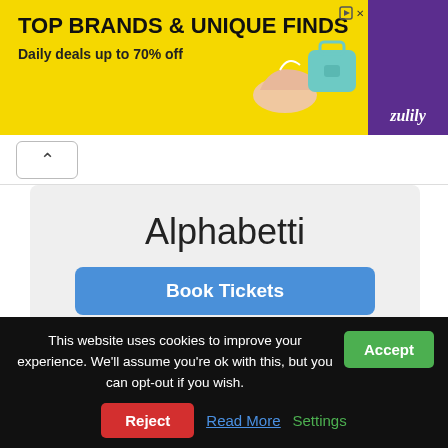[Figure (other): Zulily advertisement banner: yellow background with text 'TOP BRANDS & UNIQUE FINDS' and 'Daily deals up to 70% off', images of a shoe and teal bag, purple Zulily branding on the right.]
Alphabetti
Book Tickets
Playhouse Whitley Bay
This website uses cookies to improve your experience. We'll assume you're ok with this, but you can opt-out if you wish. Accept
Reject Read More Settings